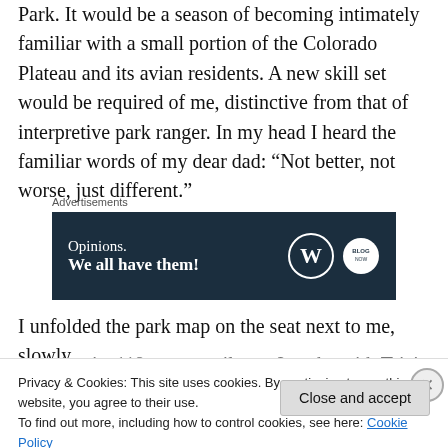Park. It would be a season of becoming intimately familiar with a small portion of the Colorado Plateau and its avian residents. A new skill set would be required of me, distinctive from that of interpretive park ranger. In my head I heard the familiar words of my dear dad: “Not better, not worse, just different.”
[Figure (other): Advertisement banner with dark navy background. Text reads: 'Opinions. We all have them!' with WordPress (W) logo and another circular logo on the right. Above the banner is the label 'Advertisements'.]
I unfolded the park map on the seat next to me, slowly perusing its 119 square miles as I spoke with Tricia
Privacy & Cookies: This site uses cookies. By continuing to use this website, you agree to their use.
To find out more, including how to control cookies, see here: Cookie Policy
Close and accept